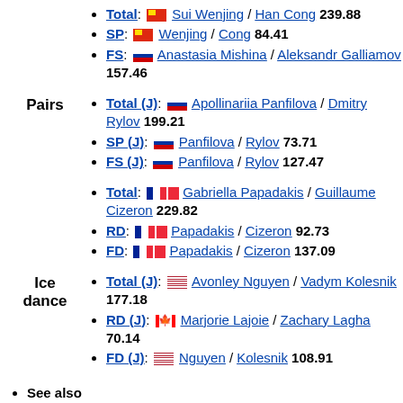Total: [CN] Sui Wenjing / Han Cong 239.88
SP: [CN] Wenjing / Cong 84.41
FS: [RU] Anastasia Mishina / Aleksandr Galliamov 157.46
Pairs
Total (J): [RU] Apollinariia Panfilova / Dmitry Rylov 199.21
SP (J): [RU] Panfilova / Rylov 73.71
FS (J): [RU] Panfilova / Rylov 127.47
Total: [FR] Gabriella Papadakis / Guillaume Cizeron 229.82
RD: [FR] Papadakis / Cizeron 92.73
FD: [FR] Papadakis / Cizeron 137.09
Ice dance
Total (J): [US] Avonley Nguyen / Vadym Kolesnik 177.18
RD (J): [CA] Marjorie Lajoie / Zachary Lagha 70.14
FD (J): [US] Nguyen / Kolesnik 108.91
See also
Progression of record scores
Record technical and component scores
Highest technical element scores